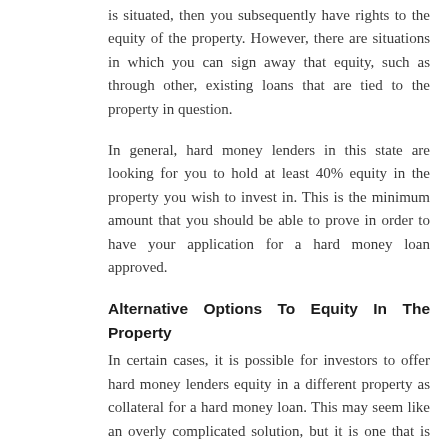is situated, then you subsequently have rights to the equity of the property. However, there are situations in which you can sign away that equity, such as through other, existing loans that are tied to the property in question.
In general, hard money lenders in this state are looking for you to hold at least 40% equity in the property you wish to invest in. This is the minimum amount that you should be able to prove in order to have your application for a hard money loan approved.
Alternative Options To Equity In The Property
In certain cases, it is possible for investors to offer hard money lenders equity in a different property as collateral for a hard money loan. This may seem like an overly complicated solution, but it is one that is regularly used in the Mississippi market, and to